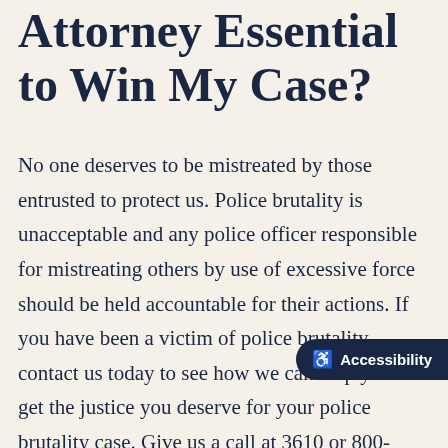Attorney Essential to Win My Case?
No one deserves to be mistreated by those entrusted to protect us. Police brutality is unacceptable and any police officer responsible for mistreating others by use of excessive force should be held accountable for their actions. If you have been a victim of police brutality, contact us today to see how we can help you get the justice you deserve for your police brutality case. Give us a call at 3610 or 800-721-3992 to learn more about what we can do for you.